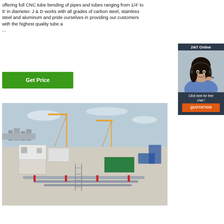offering full CNC tube bending of pipes and tubes ranging from 1/4' to 5' in diameter. J & D works with all grades of carbon steel, stainless steel and aluminum and pride ourselves in providing our customers with the highest quality tube a...
[Figure (infographic): 24/7 Online chat widget with photo of woman wearing headset and blue shirt, dark navy background, with 'Click here for free chat!' text and orange QUOTATION button]
[Figure (photo): Construction site photo showing rooftop with HVAC equipment, pipes, cranes, and city skyline in background]